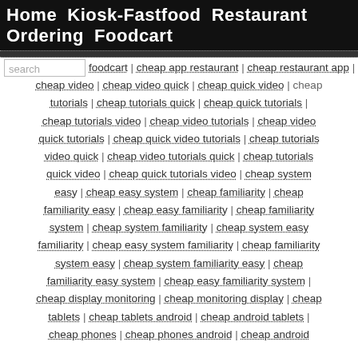Home  Kiosk-Fastfood  Restaurant Ordering  Foodcart
foodcart | cheap app restaurant | cheap restaurant app | cheap video | cheap video quick | cheap quick video | cheap tutorials | cheap tutorials quick | cheap quick tutorials | cheap tutorials video | cheap video tutorials | cheap video quick tutorials | cheap quick video tutorials | cheap tutorials video quick | cheap video tutorials quick | cheap tutorials quick video | cheap quick tutorials video | cheap system easy | cheap easy system | cheap familiarity | cheap familiarity easy | cheap easy familiarity | cheap familiarity system | cheap system familiarity | cheap system easy familiarity | cheap easy system familiarity | cheap familiarity system easy | cheap system familiarity easy | cheap familiarity easy system | cheap easy familiarity system | cheap display monitoring | cheap monitoring display | cheap tablets | cheap tablets android | cheap android tablets | cheap phones | cheap phones android | cheap android